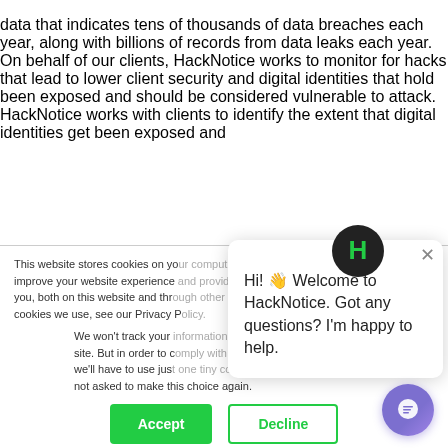data that indicates tens of thousands of data breaches each year, along with billions of records from data leaks each year. On behalf of our clients, HackNotice works to monitor for hacks that lead to lower client security and digital identities that hold been exposed and should be considered vulnerable to attack. HackNotice works with clients to identify the extent that digital identities get been exposed and
This website stores cookies on your computer. These cookies are used to improve your website experience and provide more personalized services to you, both on this website and through other media. To find out more about the cookies we use, see our Privacy Policy.
We won't track your information when you visit our site. But in order to comply with your preferences, we'll have to use just one tiny cookie so that you're not asked to make this choice again.
Accept
Decline
Hi! 👋 Welcome to HackNotice. Got any questions? I'm happy to help.